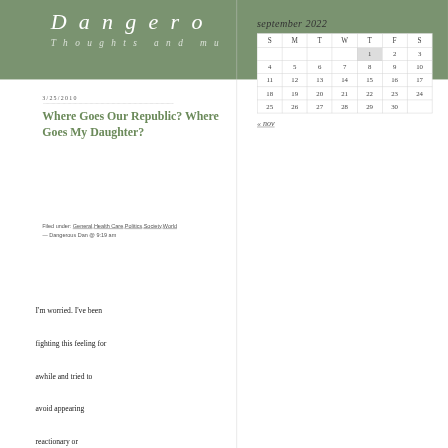Dangero Thoughts and mu
| september 2022 |  |  |  |  |  |  |
| --- | --- | --- | --- | --- | --- | --- |
| S | M | T | W | T | F | S |
|  |  |  |  | 1 | 2 | 3 |
| 4 | 5 | 6 | 7 | 8 | 9 | 10 |
| 11 | 12 | 13 | 14 | 15 | 16 | 17 |
| 18 | 19 | 20 | 21 | 22 | 23 | 24 |
| 25 | 26 | 27 | 28 | 29 | 30 |  |
« nov
3/25/2010
Where Goes Our Republic? Where Goes My Daughter?
Filed under: General,Health Care,Politics,Society,World — Dangerous Dan @ 9:19 am
I'm worried.  I've been fighting this feeling for awhile and tried to avoid appearing reactionary or